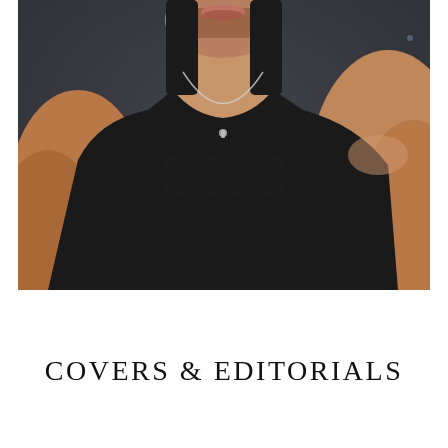[Figure (photo): Close-up photo of a muscular man with short dark beard wearing a black tank top and a thin silver necklace, photographed against a dark grey background. The image is cropped from chin to chest.]
COVERS & EDITORIALS